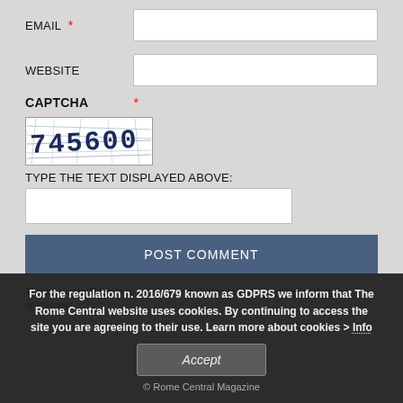EMAIL *
WEBSITE
CAPTCHA *
[Figure (other): CAPTCHA image showing distorted text '745600' with dark blue characters on white background with noise lines]
TYPE THE TEXT DISPLAYED ABOVE:
POST COMMENT
This site uses Akismet to reduce spam. Learn how your comment data is processed.
For the regulation n. 2016/679 known as GDPRS we inform that The Rome Central website uses cookies. By continuing to access the site you are agreeing to their use. Learn more about cookies > Info
Accept
© Rome Central Magazine